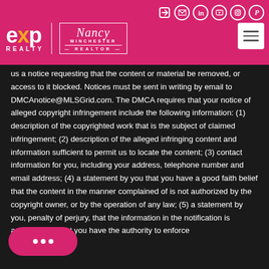[Figure (logo): EXP Realty logo with Nancy Winchester Realtor branding on pink/magenta header bar with social media icons and hamburger menu]
us a notice requesting that the content or material be removed, or access to it blocked. Notices must be sent in writing by email to DMCAnotice@MLSGrid.com. The DMCA requires that your notice of alleged copyright infringement include the following information: (1) description of the copyrighted work that is the subject of claimed infringement; (2) description of the alleged infringing content and information sufficient to permit us to locate the content; (3) contact information for you, including your address, telephone number and email address; (4) a statement by you that you have a good faith belief that the content in the manner complained of is not authorized by the copyright owner, or by the operation of any law; (5) a statement by you, penalty of perjury, that the information in the notification is accurate and that you have the authority to enforce